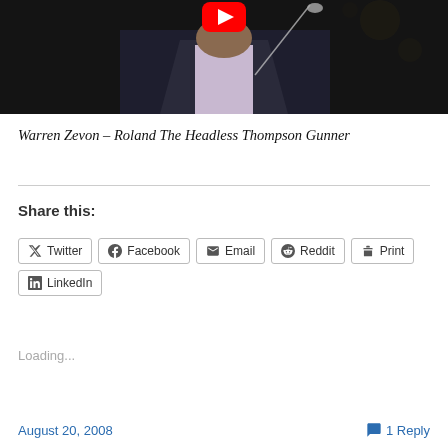[Figure (screenshot): YouTube video thumbnail showing a man in a dark pinstripe suit singing into a microphone, dark background, with YouTube play button overlay at top center]
Warren Zevon – Roland The Headless Thompson Gunner
Share this:
Twitter  Facebook  Email  Reddit  Print  LinkedIn
Loading...
August 20, 2008   1 Reply